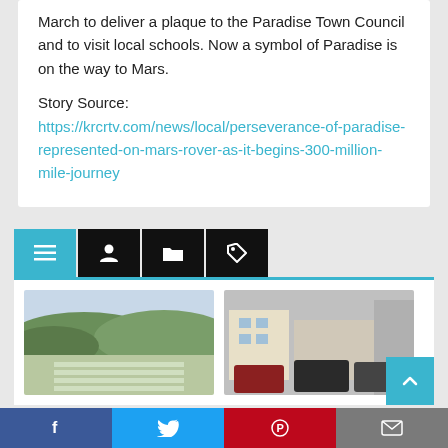March to deliver a plaque to the Paradise Town Council and to visit local schools. Now a symbol of Paradise is on the way to Mars.
Story Source:
https://krcrtv.com/news/local/perseverance-of-paradise-represented-on-mars-rover-as-it-begins-300-million-mile-journey
[Figure (screenshot): Website navigation tab bar with teal menu icon tab and three black icon tabs (person, folder, tag)]
[Figure (photo): Thumbnail photo of a landscape with hills and water infrastructure in foreground]
[Figure (photo): Thumbnail photo of cars parked on a street with buildings in background]